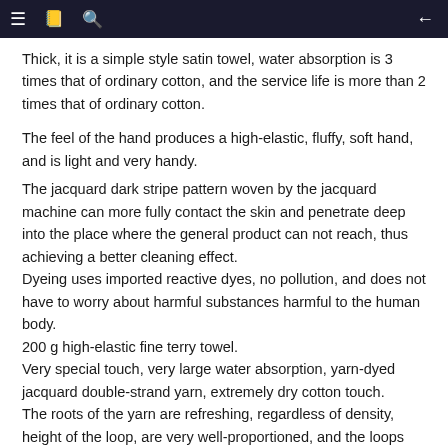≡ 📖 🔍 ←
Thick, it is a simple style satin towel, water absorption is 3 times that of ordinary cotton, and the service life is more than 2 times that of ordinary cotton.
The feel of the hand produces a high-elastic, fluffy, soft hand, and is light and very handy.
The jacquard dark stripe pattern woven by the jacquard machine can more fully contact the skin and penetrate deep into the place where the general product can not reach, thus achieving a better cleaning effect.
Dyeing uses imported reactive dyes, no pollution, and does not have to worry about harmful substances harmful to the human body.
200 g high-elastic fine terry towel.
Very special touch, very large water absorption, yarn-dyed jacquard double-strand yarn, extremely dry cotton touch.
The roots of the yarn are refreshing, regardless of density, height of the loop, are very well-proportioned, and the loops are elastic.
[Figure (photo): Partial image of towel fabric showing texture, cropped at bottom of page]